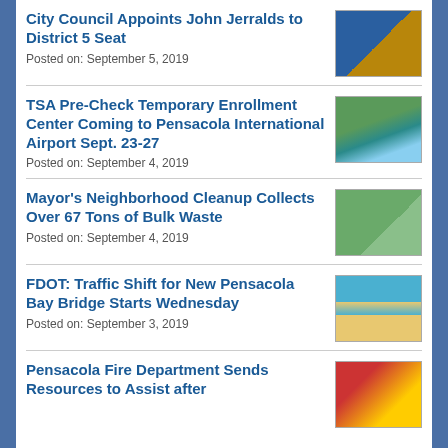City Council Appoints John Jerralds to District 5 Seat
Posted on: September 5, 2019
TSA Pre-Check Temporary Enrollment Center Coming to Pensacola International Airport Sept. 23-27
Posted on: September 4, 2019
Mayor's Neighborhood Cleanup Collects Over 67 Tons of Bulk Waste
Posted on: September 4, 2019
FDOT: Traffic Shift for New Pensacola Bay Bridge Starts Wednesday
Posted on: September 3, 2019
Pensacola Fire Department Sends Resources to Assist after